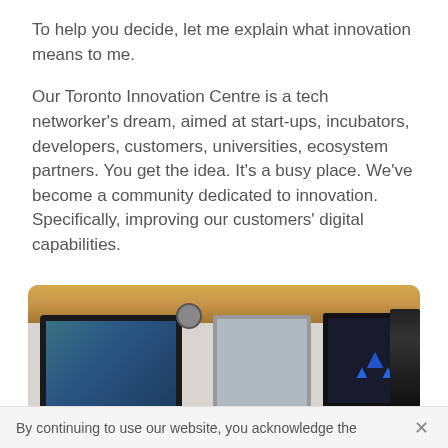To help you decide, let me explain what innovation means to me.
Our Toronto Innovation Centre is a tech networker’s dream, aimed at start-ups, incubators, developers, customers, universities, ecosystem partners. You get the idea. It’s a busy place. We’ve become a community dedicated to innovation. Specifically, improving our customers’ digital capabilities.
[Figure (photo): Interior photo of Toronto Innovation Centre showing multiple display screens mounted on walls, a security camera, warm ceiling lighting with wooden accent, and tech equipment in a modern room setting.]
By continuing to use our website, you acknowledge the